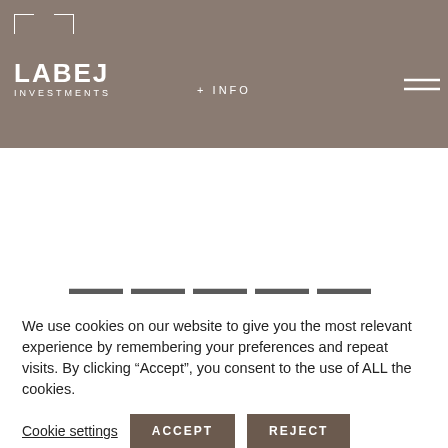[Figure (logo): Label Investments logo with corner bracket decoration and hamburger menu and +INFO link on dark taupe header bar]
[Figure (screenshot): Partial large grey text partially visible behind cookie consent overlay, appears to be a heading starting with dashes]
We use cookies on our website to give you the most relevant experience by remembering your preferences and repeat visits. By clicking “Accept”, you consent to the use of ALL the cookies.
Cookie settings   ACCEPT   REJECT